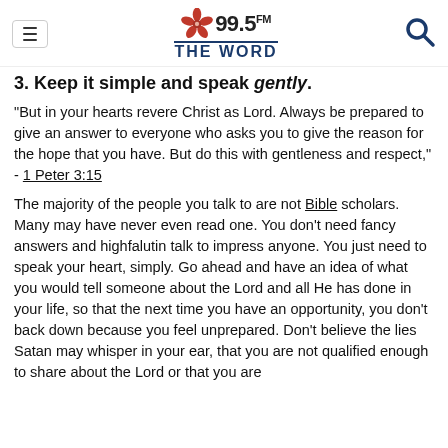99.5 FM THE WORD
3. Keep it simple and speak gently.
"But in your hearts revere Christ as Lord. Always be prepared to give an answer to everyone who asks you to give the reason for the hope that you have. But do this with gentleness and respect," - 1 Peter 3:15
The majority of the people you talk to are not Bible scholars. Many may have never even read one. You don't need fancy answers and highfalutin talk to impress anyone. You just need to speak your heart, simply. Go ahead and have an idea of what you would tell someone about the Lord and all He has done in your life, so that the next time you have an opportunity, you don't back down because you feel unprepared. Don't believe the lies Satan may whisper in your ear, that you are not qualified enough to share about the Lord or that you are